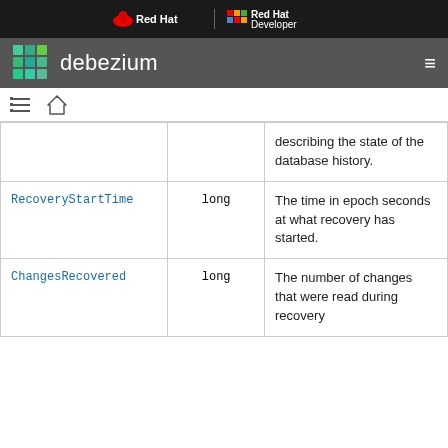[Figure (logo): Red Hat and Red Hat Developer logos on dark navigation bar]
[Figure (logo): Debezium logo with colorful grid icon on gray header bar]
[Figure (other): Breadcrumb navigation bar with list and home icons]
|  |  | describing the state of the database history. |
| RecoveryStartTime | long | The time in epoch seconds at what recovery has started. |
| ChangesRecovered | long | The number of changes that were read during recovery |